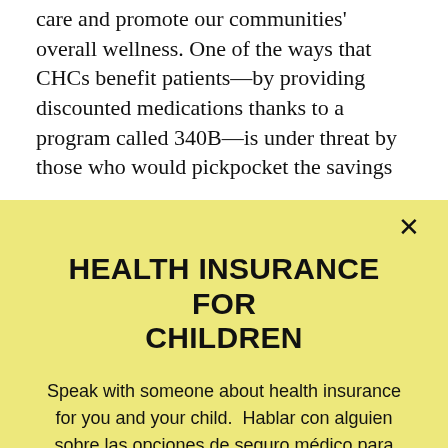care and promote our communities' overall wellness. One of the ways that CHCs benefit patients—by providing discounted medications thanks to a program called 340B—is under threat by those who would pickpocket the savings
HEALTH INSURANCE FOR CHILDREN
Speak with someone about health insurance for you and your child.  Hablar con alguien sobre las opciones de seguro médico para usted o su hijo,
LEARN MORE/ APRENDE MÁS